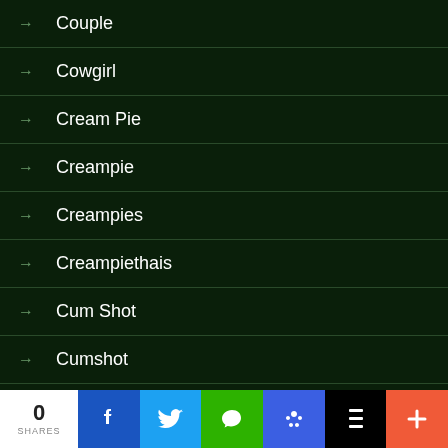Couple
Cowgirl
Cream Pie
Creampie
Creampies
Creampiethais
Cum Shot
Cumshot
Cumshot Big Tits